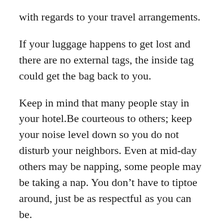with regards to your travel arrangements.
If your luggage happens to get lost and there are no external tags, the inside tag could get the bag back to you.
Keep in mind that many people stay in your hotel.Be courteous to others; keep your noise level down so you do not disturb your neighbors. Even at mid-day others may be napping, some people may be taking a nap. You don’t have to tiptoe around, just be as respectful as you can be.
These cables can be used to connect your computer through the television in your room.